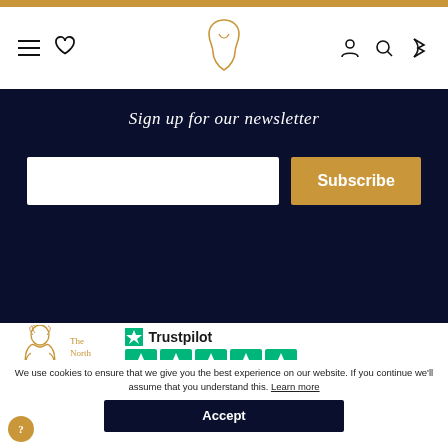Navigation header with hamburger menu, heart icon, logo, user icon, search icon, and profile icon
Sign up for our newsletter
[Figure (screenshot): Email input field and Subscribe button on dark navy background]
[Figure (logo): The North American brand logo with illustrated figure]
[Figure (infographic): Trustpilot 5-star rating with green star icons]
We use cookies to ensure that we give you the best experience on our website. If you continue we'll assume that you understand this. Learn more
Accept